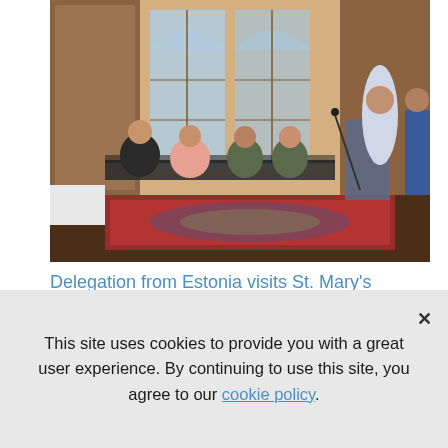[Figure (photo): Indoor meeting room scene: several people seated at tables in a wood-paneled room with tall arched windows. A speaker stands at a podium on the right side. Some attendees appear to be in military uniform. A colorful rug is on the floor.]
Delegation from Estonia visits St. Mary's College of Maryland
August 22, 2022
This site uses cookies to provide you with a great user experience. By continuing to use this site, you agree to our cookie policy.